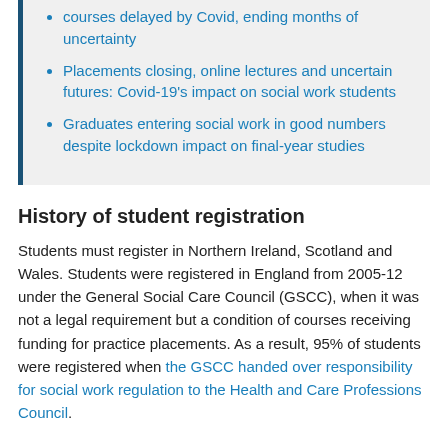courses delayed by Covid, ending months of uncertainty
Placements closing, online lectures and uncertain futures: Covid-19's impact on social work students
Graduates entering social work in good numbers despite lockdown impact on final-year studies
History of student registration
Students must register in Northern Ireland, Scotland and Wales. Students were registered in England from 2005-12 under the General Social Care Council (GSCC), when it was not a legal requirement but a condition of courses receiving funding for practice placements. As a result, 95% of students were registered when the GSCC handed over responsibility for social work regulation to the Health and Care Professions Council.